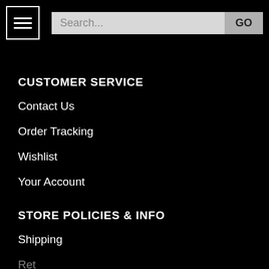Navigation bar with hamburger menu, search field, and GO button
CUSTOMER SERVICE
Contact Us
Order Tracking
Wishlist
Your Account
STORE POLICIES & INFO
Shipping
Returns